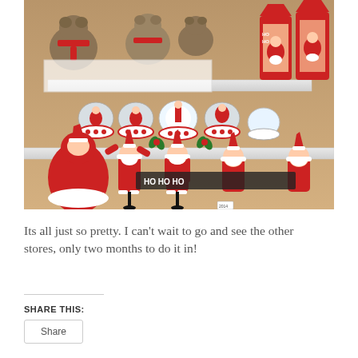[Figure (photo): A display shelf in a Christmas store showing various holiday decorations: teddy bears wearing red scarves, snow globes with Santa figures on red-and-white bases, Santa Claus figurines in red and white, red lanterns with Santa inside, and a banner reading 'HO HO HO'. Tags reading '2014' are visible on some items.]
Its all just so pretty. I can't wait to go and see the other stores, only two months to do it in!
SHARE THIS:
Share